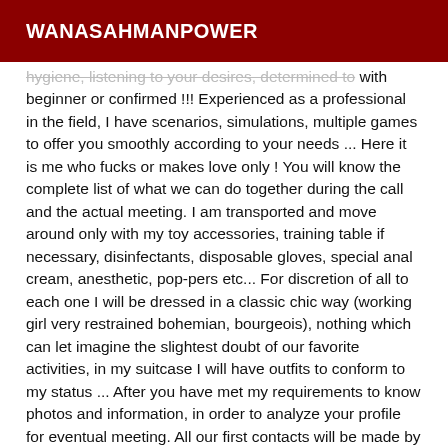WANASAHMANPOWER
hygiene, listening to your desires, determined to with beginner or confirmed !!! Experienced as a professional in the field, I have scenarios, simulations, multiple games to offer you smoothly according to your needs ... Here it is me who fucks or makes love only ! You will know the complete list of what we can do together during the call and the actual meeting. I am transported and move around only with my toy accessories, training table if necessary, disinfectants, disposable gloves, special anal cream, anesthetic, pop-pers etc... For discretion of all to each one I will be dressed in a classic chic way (working girl very restrained bohemian, bourgeois), nothing which can let imagine the slightest doubt of our favorite activities, in my suitcase I will have outfits to conform to my status ... After you have met my requirements to know photos and information, in order to analyze your profile for eventual meeting. All our first contacts will be made by phone, so